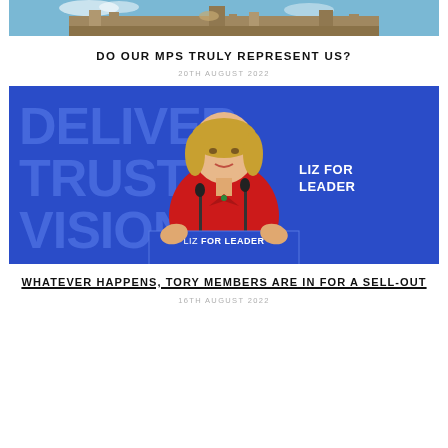[Figure (photo): Top cropped photo showing ornate building architecture with blue sky]
DO OUR MPS TRULY REPRESENT US?
20TH AUGUST 2022
[Figure (photo): Liz Truss speaking at a 'LIZ FOR LEADER' campaign event, wearing a red jacket, against a blue background with words DELIVERY, TRUST, VISION]
WHATEVER HAPPENS, TORY MEMBERS ARE IN FOR A SELL-OUT
16TH AUGUST 2022